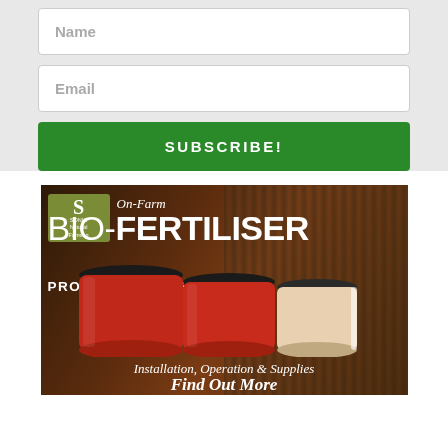Name
Email
SUBSCRIBE!
[Figure (photo): Sonic Natural Farming advertisement for On-Farm Bio-Fertiliser Production Systems showing red plastic barrel containers in a farm shed setting, with text 'Installation, Operation & Supplies' and 'Find Out More']